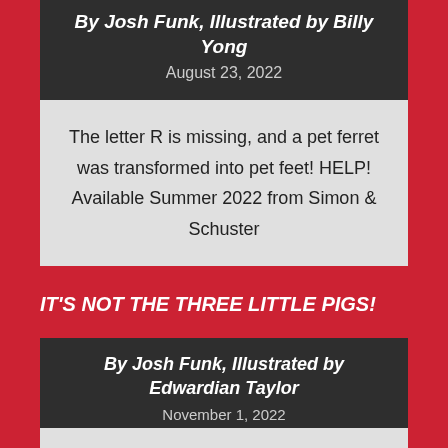By Josh Funk, Illustrated by Billy Yong
August 23, 2022
The letter R is missing, and a pet ferret was transformed into pet feet! HELP! Available Summer 2022 from Simon & Schuster
IT'S NOT THE THREE LITTLE PIGS!
By Josh Funk, Illustrated by Edwardian Taylor
November 1, 2022